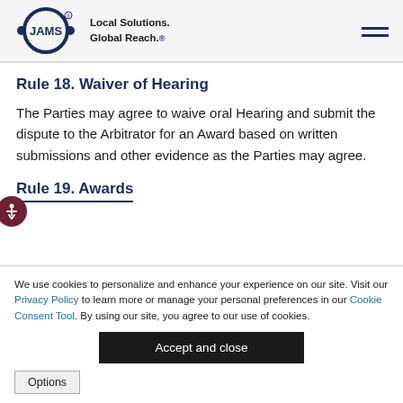JAMS — Local Solutions. Global Reach.
Rule 18. Waiver of Hearing
The Parties may agree to waive oral Hearing and submit the dispute to the Arbitrator for an Award based on written submissions and other evidence as the Parties may agree.
Rule 19. Awards
We use cookies to personalize and enhance your experience on our site. Visit our Privacy Policy to learn more or manage your personal preferences in our Cookie Consent Tool. By using our site, you agree to our use of cookies.